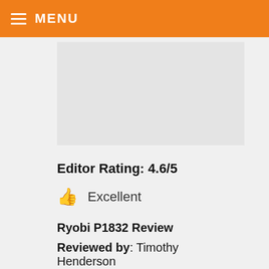MENU
[Figure (photo): Product image placeholder area (light gray background)]
Editor Rating: 4.6/5
Excellent
Ryobi P1832 Review
Reviewed by: Timothy Henderson